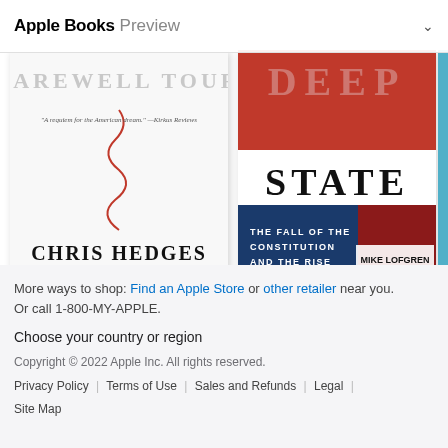Apple Books Preview
[Figure (photo): Book cover: America: The Farewell Tour by Chris Hedges. White cover with red squiggly line, text 'CHRIS HEDGES', 'FAREWELL TOUR' visible. Below: title 'America: The Farewell Tour', year '2018'.]
[Figure (photo): Book cover: The Deep State by Mike Lofgren. Red, white, and blue cover with 'DEEP STATE' and 'THE FALL OF THE CONSTITUTION AND THE RISE OF A SHADOW GOVERNMENT' text. Below: title 'The Deep State', year '2016'.]
[Figure (photo): Partial book cover on right edge, partially visible. Year '201' visible.]
America: The Farewell Tour
2018
The Deep State
2016
Bro
201
More ways to shop: Find an Apple Store or other retailer near you. Or call 1-800-MY-APPLE.
Choose your country or region
Copyright © 2022 Apple Inc. All rights reserved.
Privacy Policy | Terms of Use | Sales and Refunds | Legal | Site Map